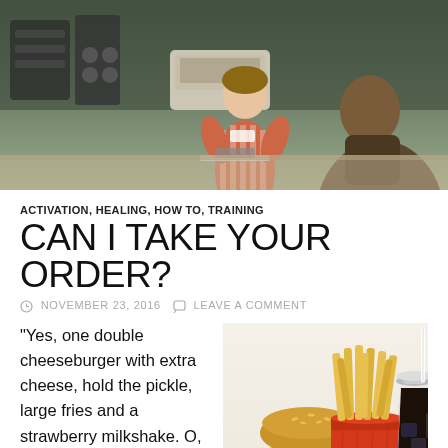[Figure (photo): Vintage fast food counter scene with a worker in striped uniform holding a tray, and a customer seen from behind]
ACTIVATION, HEALING, HOW TO, TRAINING
CAN I TAKE YOUR ORDER?
NOVEMBER 23, 2016   LEAVE A COMMENT
“Yes, one double cheeseburger with extra cheese, hold the pickle, large fries and a strawberry milkshake.  O, and I’ll have some extra mayo with that.”
[Figure (photo): Fast food meal with burger, large fries, and a dark soda drink with straw on white background]